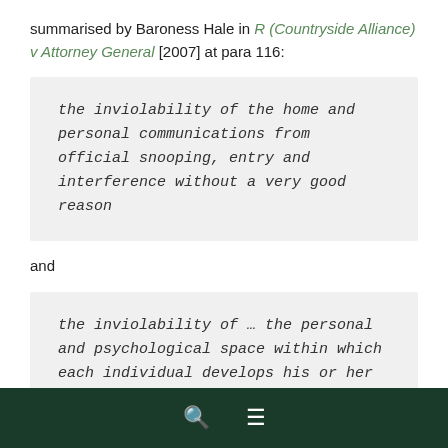summarised by Baroness Hale in R (Countryside Alliance) v Attorney General [2007] at para 116:
the inviolability of the home and personal communications from official snooping, entry and interference without a very good reason
and
the inviolability of … the personal and psychological space within which each individual develops his or her own sense of self and relationships with other people.
As this case does not concern state surveillance, the